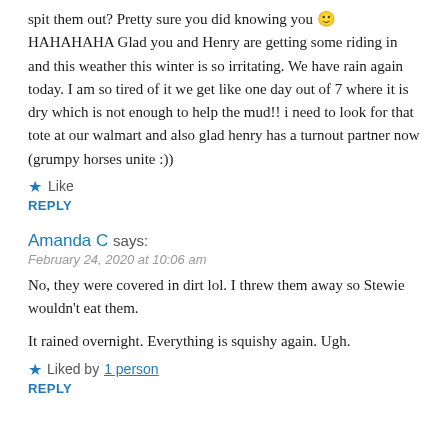spit them out? Pretty sure you did knowing you 🙂 HAHAHAHA Glad you and Henry are getting some riding in and this weather this winter is so irritating. We have rain again today. I am so tired of it we get like one day out of 7 where it is dry which is not enough to help the mud!! i need to look for that tote at our walmart and also glad henry has a turnout partner now (grumpy horses unite :))
★ Like
REPLY
Amanda C says:
February 24, 2020 at 10:06 am
No, they were covered in dirt lol. I threw them away so Stewie wouldn't eat them.
It rained overnight. Everything is squishy again. Ugh.
★ Liked by 1 person
REPLY